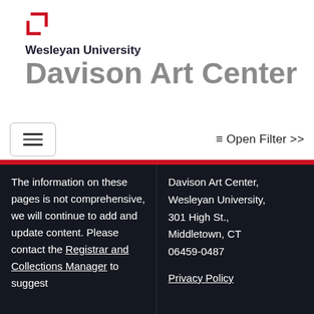[Figure (logo): Wesleyan University bracket logo mark in red]
Wesleyan University
Davison Art Center
[Figure (screenshot): Navigation bar with hamburger menu button and Open Filter >> link]
The information on these pages is not comprehensive, we will continue to add and update content. Please contact the Registrar and Collections Manager to suggest
Davison Art Center, Wesleyan University, 301 High St., Middletown, CT 06459-0487

Privacy Policy